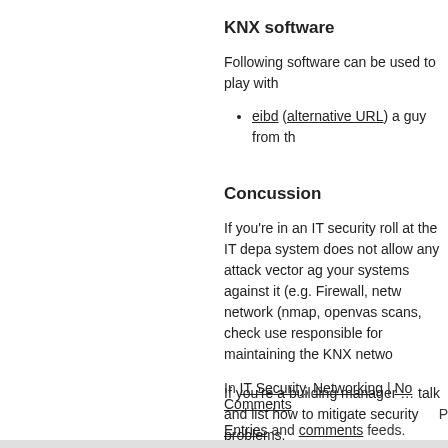KNX software
Following software can be used to play with
eibd (alternative URL) a guy from th
Concussion
If you're in an IT security roll at the IT depa system does not allow any attack vector ag your systems against it (e.g. Firewall, netw network (nmap, openvas scans, check use responsible for maintaining the KNX netwo
If you're a building manager … talk and list how to mitigate security problems.
In IT Security, Networking | No Comments
P Entries and comments feeds.